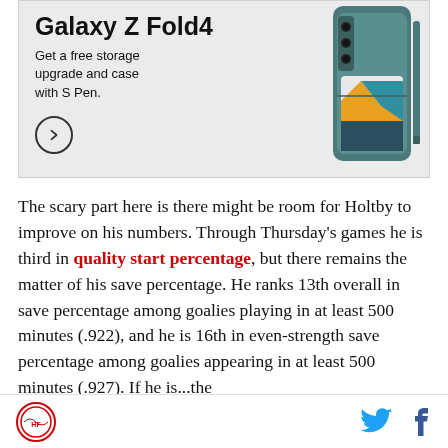[Figure (photo): Samsung Galaxy Z Fold4 advertisement showing the phone with text: 'Galaxy Z Fold4 Get a free storage upgrade and case with S Pen.']
The scary part here is there might be room for Holtby to improve on his numbers. Through Thursday's games he is third in quality start percentage, but there remains the matter of his save percentage. He ranks 13th overall in save percentage among goalies playing in at least 500 minutes (.922), and he is 16th in even-strength save percentage among goalies appearing in at least...(.927). If he is...the
Hockey Reference logo | Twitter icon | Facebook icon